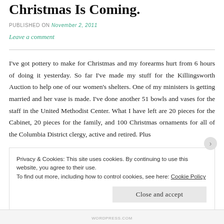Christmas Is Coming.
PUBLISHED ON November 2, 2011
Leave a comment
I've got pottery to make for Christmas and my forearms hurt from 6 hours of doing it yesterday. So far I've made my stuff for the Killingsworth Auction to help one of our women's shelters. One of my ministers is getting married and her vase is made. I've done another 51 bowls and vases for the staff in the United Methodist Center. What I have left are 20 pieces for the Cabinet, 20 pieces for the family, and 100 Christmas ornaments for all of the Columbia District clergy, active and retired. Plus
Privacy & Cookies: This site uses cookies. By continuing to use this website, you agree to their use.
To find out more, including how to control cookies, see here: Cookie Policy
Close and accept